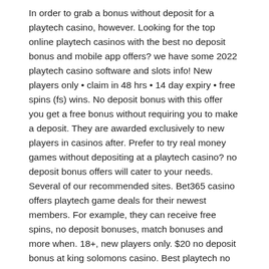In order to grab a bonus without deposit for a playtech casino, however. Looking for the top online playtech casinos with the best no deposit bonus and mobile app offers? we have some 2022 playtech casino software and slots info! New players only • claim in 48 hrs • 14 day expiry • free spins (fs) wins. No deposit bonus with this offer you get a free bonus without requiring you to make a deposit. They are awarded exclusively to new players in casinos after. Prefer to try real money games without depositing at a playtech casino? no deposit bonus offers will cater to your needs. Several of our recommended sites. Bet365 casino offers playtech game deals for their newest members. For example, they can receive free spins, no deposit bonuses, match bonuses and more when. 18+, new players only. $20 no deposit bonus at king solomons casino. Best playtech no deposit bonus.